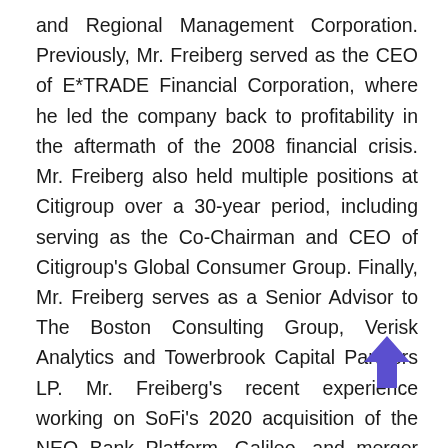and Regional Management Corporation. Previously, Mr. Freiberg served as the CEO of E*TRADE Financial Corporation, where he led the company back to profitability in the aftermath of the 2008 financial crisis. Mr. Freiberg also held multiple positions at Citigroup over a 30-year period, including serving as the Co-Chairman and CEO of Citigroup's Global Consumer Group. Finally, Mr. Freiberg serves as a Senior Advisor to The Boston Consulting Group, Verisk Analytics and Towerbrook Capital Partners LP. Mr. Freiberg's recent experience working on SoFi's 2020 acquisition of the NEO Bank Platform, Galileo, and merger with Social Capital Hedosophia Holdings V, brings invaluable expertise from a target perspective to demonstrate that Comp Digital will be an attractive partner for potential targets.
[Figure (other): Blue/purple upward-pointing arrow icon overlaid on the bottom-right area of the text block.]